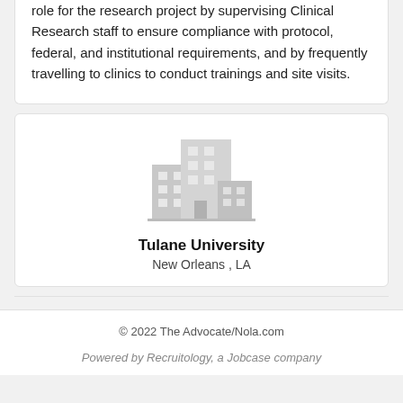role for the research project by supervising Clinical Research staff to ensure compliance with protocol, federal, and institutional requirements, and by frequently travelling to clinics to conduct trainings and site visits.
[Figure (illustration): Gray building/office icon representing Tulane University]
Tulane University
New Orleans , LA
© 2022 The Advocate/Nola.com
Powered by Recruitology, a Jobcase company